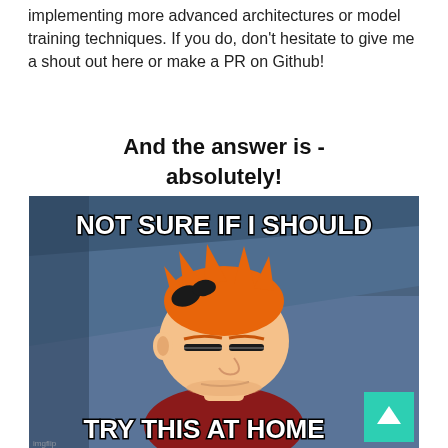implementing more advanced architectures or model training techniques. If you do, don't hesitate to give me a shout out here or make a PR on Github!
And the answer is - absolutely!
[Figure (illustration): Futurama Fry meme with text 'NOT SURE IF I SHOULD' at the top and 'TRY THIS AT HOME' at the bottom, showing the squinting Fry character against a blue background.]